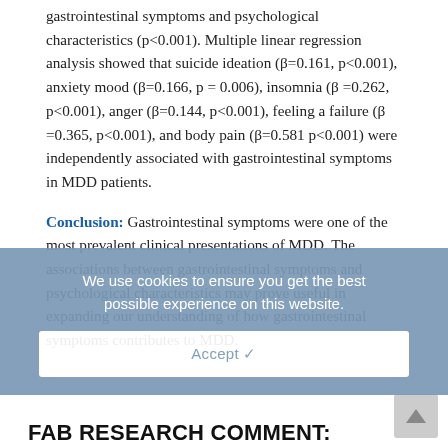gastrointestinal symptoms and psychological characteristics (p<0.001). Multiple linear regression analysis showed that suicide ideation (β=0.161, p<0.001), anxiety mood (β=0.166, p = 0.006), insomnia (β =0.262, p<0.001), anger (β=0.144, p<0.001), feeling a failure (β =0.365, p<0.001), and body pain (β=0.581 p<0.001) were independently associated with gastrointestinal symptoms in MDD patients.
Conclusion: Gastrointestinal symptoms were one of the most prevalent clinical presentations of MDD. The associations between gastrointestinal symptoms and psychological characteristics may prove useful in expanding our understanding of how gastrointestinal symptoms contributes to MDD.
We use cookies to ensure you get the best possible experience on this website.
Accept ✓
FAB RESEARCH COMMENT: